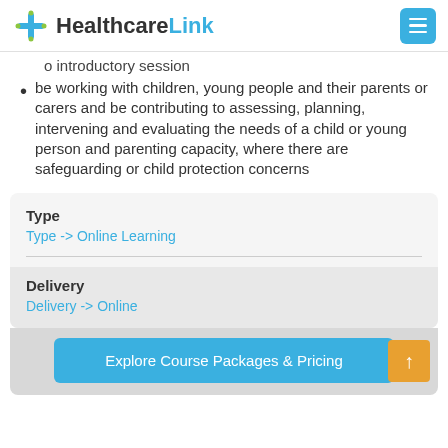HealthcareLink
o introductory session
be working with children, young people and their parents or carers and be contributing to assessing, planning, intervening and evaluating the needs of a child or young person and parenting capacity, where there are safeguarding or child protection concerns
Type
Type -> Online Learning
Delivery
Delivery -> Online
Explore Course Packages & Pricing